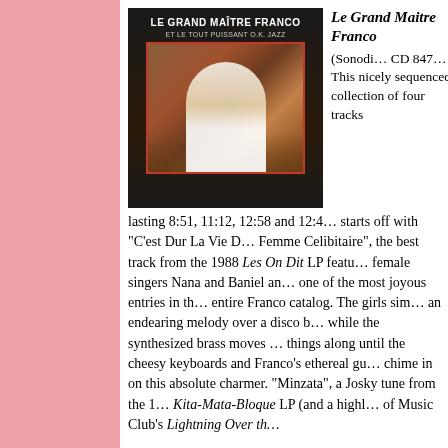[Figure (photo): Album cover for 'Le Grand Maître Franco et Le Tout Puissant O.K. Jazz' showing an artist with a guitar in front of a crowd, dark background with red border frame]
Le Grand Maitre Franco (Sonodi… CD 847… This nicely sequenced collection of four tracks lasting 8:51, 11:12, 12:58 and 12:4… starts off with "C'est Dur La Vie D… Femme Celibitaire", the best track from the 1988 Les On Dit LP featu… female singers Nana and Baniel an… one of the most joyous entries in th… entire Franco catalog. The girls sim… an endearing melody over a disco b… while the synthesized brass moves … things along until the cheesy keyboards and Franco's ethereal gu… chime in on this absolute charmer. "Minzata", a Josky tune from the 1… Kita-Mata-Bloque LP (and a highl… of Music Club's Lightning Over th…